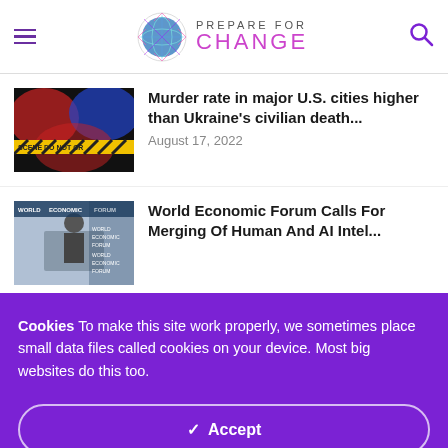Prepare For Change
Murder rate in major U.S. cities higher than Ukraine's civilian death...
August 17, 2022
World Economic Forum Calls For Merging Of Human And AI Intel...
Cookies To make this site work properly, we sometimes place small data files called cookies on your device. Most big websites do this too.
✓  Accept
Change Settings ⚙